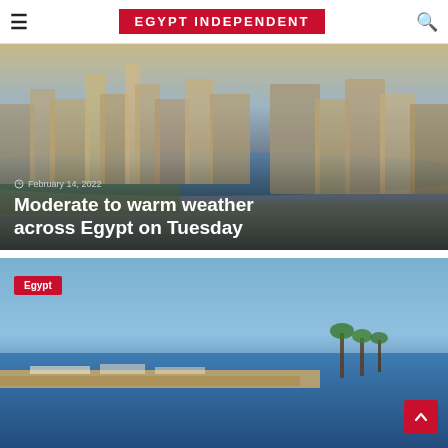EGYPT INDEPENDENT
[Figure (photo): Aerial view of Cairo skyline with the Nile River, showing buildings and waterfront. Article card for 'Moderate to warm weather across Egypt on Tuesday' dated February 14, 2022.]
Moderate to warm weather across Egypt on Tuesday
[Figure (photo): Coastal Mediterranean sea view, likely Alexandria, Egypt. Article card with 'Egypt' category tag and scroll-to-top button.]